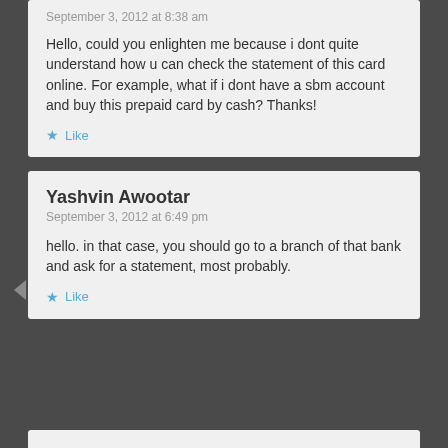September 3, 2012 at 8:38 am
Hello, could you enlighten me because i dont quite understand how u can check the statement of this card online. For example, what if i dont have a sbm account and buy this prepaid card by cash? Thanks!
Like
Yashvin Awootar
September 3, 2012 at 6:49 pm
hello. in that case, you should go to a branch of that bank and ask for a statement, most probably.
Like